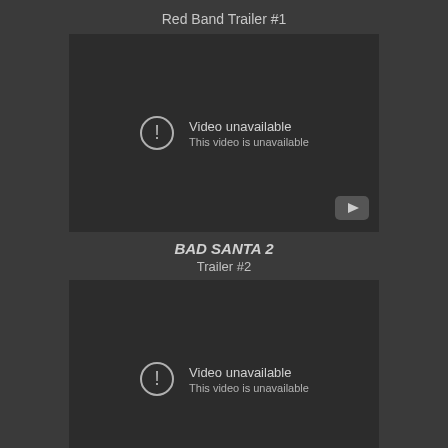Red Band Trailer #1
[Figure (screenshot): Video unavailable embed placeholder with YouTube logo. Text: 'Video unavailable / This video is unavailable']
BAD SANTA 2 Trailer #2
[Figure (screenshot): Video unavailable embed placeholder. Text: 'Video unavailable / This video is unavailable']